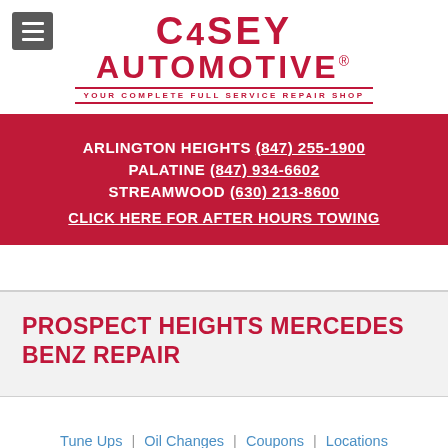[Figure (logo): Casey Automotive logo — red text reading CASEY AUTOMOTIVE with tagline YOUR COMPLETE FULL SERVICE REPAIR SHOP]
ARLINGTON HEIGHTS (847) 255-1900
PALATINE (847) 934-6602
STREAMWOOD (630) 213-8600
CLICK HERE FOR AFTER HOURS TOWING
PROSPECT HEIGHTS MERCEDES BENZ REPAIR
Tune Ups | Oil Changes | Coupons | Locations